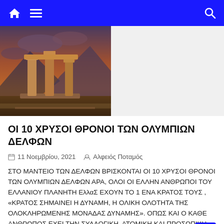Navigation bar with home, menu, and search icons
[Figure (photo): Ancient Greek ruins with stone columns against a dramatic cloudy sky with mountains in the background, warm orange-brown tones]
ΟΙ 10 ΧΡΥΣΟΙ ΘΡΟΝΟΙ ΤΩΝ ΟΛΥΜΠΙΩΝ ΔΕΛΦΩΝ
11 Νοεμβρίου, 2021   Αλφειός Ποταμός
ΣΤΟ ΜΑΝΤΕΙΟ ΤΩΝ ΔΕΛΦΩΝ ΒΡΙΣΚΟΝΤΑΙ ΟΙ 10 ΧΡΥΣΟΙ ΘΡΟΝΟΙ ΤΩΝ ΟΛΥΜΠΙΩΝ ΔΕΛΦΩΝ ΑΡΑ, ΟΛΟΙ ΟΙ ΕΛΛΗΝ ΑΝΘΡΩΠΟΙ ΤΟΥ ΕΛΛΑΝΙΟΥ ΠΛΑΝΗΤΗ ΕλλαΣ ΕΧΟΥΝ ΤΟ 1 ΕΝΑ ΚΡΑΤΟΣ ΤΟΥΣ , «ΚΡΑΤΟΣ ΣΗΜΑΙΝΕΙ Η ΔΥΝΑΜΗ, Η ΟΛΙΚΗ ΟΛΟΤΗΤΑ ΤΗΣ ΟΛΟΚΛΗΡΩΜΕΝΗΣ ΜΟΝΑΔΑΣ ΔΥΝΑΜΗΣ». ΟΠΩΣ ΚΑΙ Ο ΚΑΘΕ ΑΝΘΡΩΠΟΣ ΕΧΕΙ ΤΗΝ ΣΥΛΛΟΓΙΚΗ, ΑΤΟΜΙΚΗ ΚΑΙ ΠΡΟΣΩΠΙΚΗ ΤΟΥ ΔΥΝΑΜΗ, ΟΠΟΥ